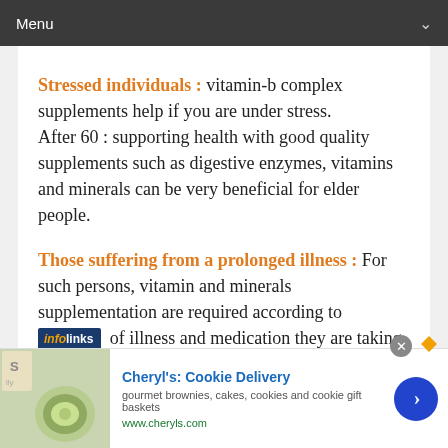Menu
Stressed individuals : vitamin-b complex supplements help if you are under stress.
After 60 : supporting health with good quality supplements such as digestive enzymes, vitamins and minerals can be very beneficial for elder people.
Those suffering from a prolonged illness : For such persons, vitamin and minerals supplementation are required according to of illness and medication they are taking.
[Figure (screenshot): Infolinks ad overlay banner and Cheryl's Cookie Delivery advertisement at the bottom of the page]